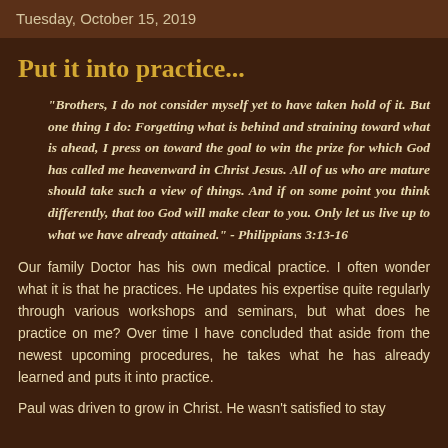Tuesday, October 15, 2019
Put it into practice...
"Brothers, I do not consider myself yet to have taken hold of it. But one thing I do: Forgetting what is behind and straining toward what is ahead, I press on toward the goal to win the prize for which God has called me heavenward in Christ Jesus. All of us who are mature should take such a view of things. And if on some point you think differently, that too God will make clear to you. Only let us live up to what we have already attained." - Philippians 3:13-16
Our family Doctor has his own medical practice. I often wonder what it is that he practices. He updates his expertise quite regularly through various workshops and seminars, but what does he practice on me? Over time I have concluded that aside from the newest upcoming procedures, he takes what he has already learned and puts it into practice.
Paul was driven to grow in Christ. He wasn't satisfied to stay